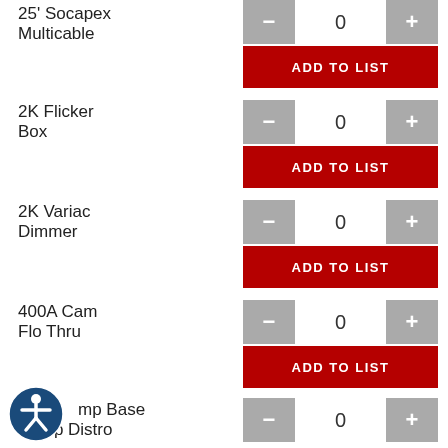25' Socapex Multicable
2K Flicker Box
2K Variac Dimmer
400A Cam Flo Thru
Camp Base Camp Distro